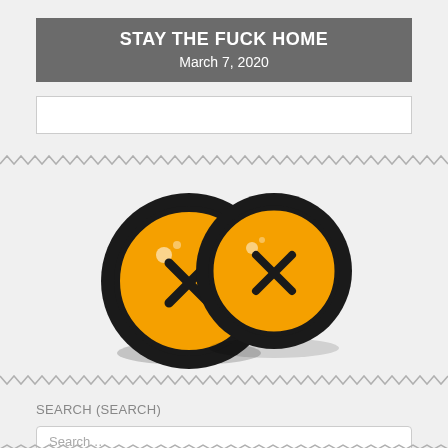STAY THE FUCK HOME
March 7, 2020
[Figure (illustration): Two orange buttons with black X stitching marks and black outlined circles around them, overlapping slightly, on a light gray background.]
SEARCH (SEARCH)
Search ...